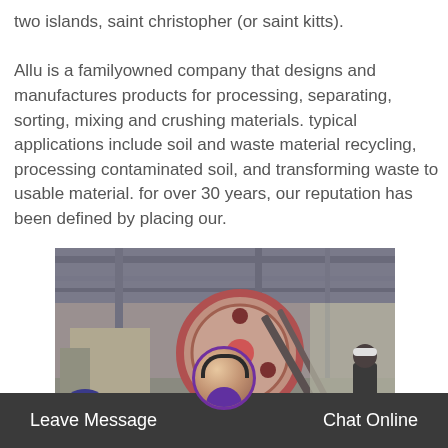two islands, saint christopher (or saint kitts). Allu is a familyowned company that designs and manufactures products for processing, separating, sorting, mixing and crushing materials. typical applications include soil and waste material recycling, processing contaminated soil, and transforming waste to usable material. for over 30 years, our reputation has been defined by placing our.
[Figure (photo): Industrial machinery photo showing a large red flywheel/pulley mechanism in a mining or crushing facility, with metal framework structures and a worker in a hard hat visible in the background.]
Leave Message   Chat Online